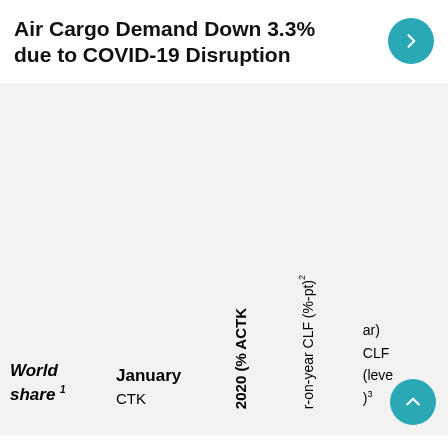Air Cargo Demand Down 3.3% due to COVID-19 Disruption
| World share 1 | January CTK | 2020 (% ACTK | r-on-year CLF (%-pt)2 | ar) CLF (level)3 |
| --- | --- | --- | --- | --- |